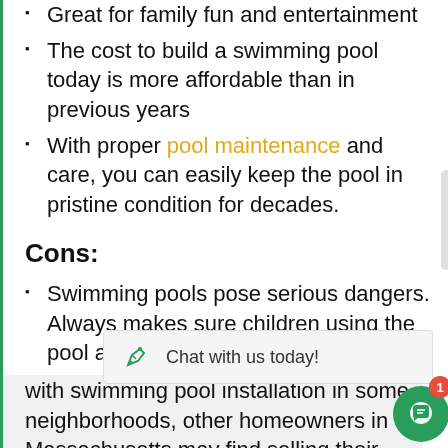Great for family fun and entertainment
The cost to build a swimming pool today is more affordable than in previous years
With proper pool maintenance and care, you can easily keep the pool in pristine condition for decades.
Cons:
Swimming pools pose serious dangers. Always makes sure children using the pool are supervised and have protective fencing …
… with swimming pool installation in some neighborhoods, other homeowners in Massachusetts may find selling their home more challenging if buyers do not want to
[Figure (infographic): Chat widget bar showing a pencil/marker icon and text 'Chat with us today!' with a green circular chat bubble button with a red badge showing '1']